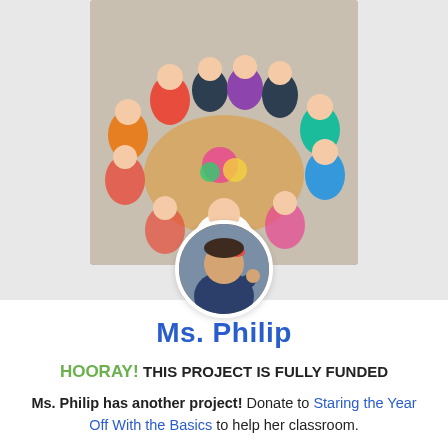[Figure (photo): Classroom photo showing a group of elementary school children gathered around a round table, viewed from above. A teacher in white is visible at the bottom center with colorful materials on the table.]
[Figure (photo): Circular avatar photo of Ms. Philip, a teacher flexing her arm in a Rosie the Riveter pose, wearing a dark jacket with a red hair accessory.]
Ms. Philip
HOORAY! THIS PROJECT IS FULLY FUNDED
Ms. Philip has another project! Donate to Staring the Year Off With the Basics to help her classroom.
Help Ms. Philip